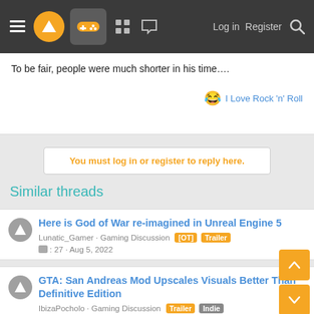Navigation bar with menu, logo, gamepad icon, grid icon, chat icon, Log in, Register, Search
To be fair, people were much shorter in his time….
😂 I Love Rock 'n' Roll
You must log in or register to reply here.
Similar threads
Here is God of War re-imagined in Unreal Engine 5 · Lunatic_Gamer · Gaming Discussion [OT] Trailer · 💬 : 27 · Aug 5, 2022
GTA: San Andreas Mod Upscales Visuals Better Than Definitive Edition · IbizaPocholo · Gaming Discussion Trailer Indie · 💬 : 21 · Jul 16, 2022